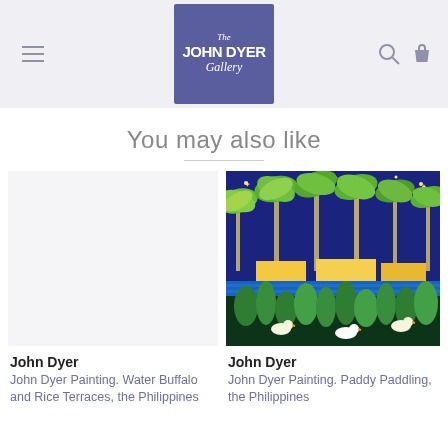The John Dyer Gallery
You may also like
[Figure (photo): Empty white product image placeholder for John Dyer Painting Water Buffalo and Rice Terraces the Philippines]
[Figure (photo): Colorful painting of palm trees at night with stars and moon over water with ducks and tropical plants, John Dyer Painting Paddy Paddling the Philippines]
John Dyer
John Dyer Painting. Water Buffalo and Rice Terraces, the Philippines
John Dyer
John Dyer Painting. Paddy Paddling, the Philippines